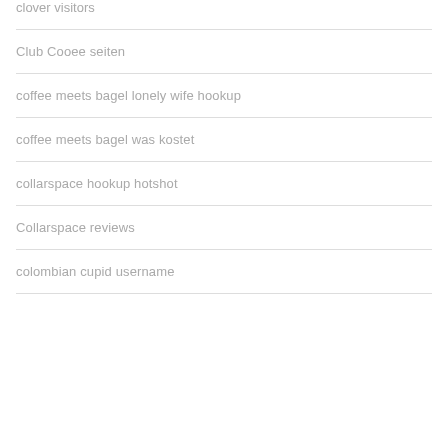clover visitors
Club Cooee seiten
coffee meets bagel lonely wife hookup
coffee meets bagel was kostet
collarspace hookup hotshot
Collarspace reviews
colombian cupid username